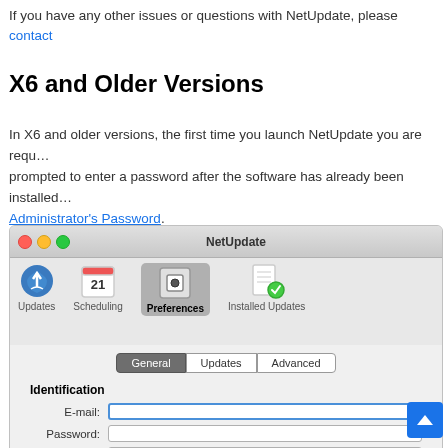If you have any other issues or questions with NetUpdate, please contact
X6 and Older Versions
In X6 and older versions, the first time you launch NetUpdate you are required to prompted to enter a password after the software has already been installed. Administrator's Password.
[Figure (screenshot): NetUpdate application window showing toolbar with Updates, Scheduling, Preferences (active), and Installed Updates tabs]
[Figure (screenshot): NetUpdate Preferences panel showing General/Updates/Advanced segmented control and Identification section with E-mail, Password, and Verify fields]